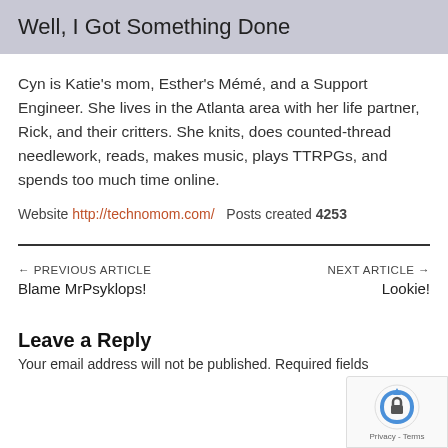Well, I Got Something Done
Cyn is Katie's mom, Esther's Mémé, and a Support Engineer. She lives in the Atlanta area with her life partner, Rick, and their critters. She knits, does counted-thread needlework, reads, makes music, plays TTRPGs, and spends too much time online.
Website http://technomom.com/   Posts created 4253
← PREVIOUS ARTICLE   Blame MrPsyklops!
NEXT ARTICLE →   Lookie!
Leave a Reply
Your email address will not be published. Required fields